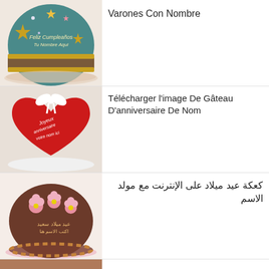[Figure (photo): Blue birthday cake with star decorations and text 'Feliz Cumpleaños Tu Nombre Aqui']
Varones Con Nombre
[Figure (photo): Red heart-shaped cake with white bow and text 'Joyeux anniversaire votre nom ici']
Télécharger l'image De Gâteau D'anniversaire De Nom
[Figure (photo): Brown chocolate birthday cake with pink flower decorations and Arabic text]
كعكة عيد ميلاد على الإنترنت مع مولد الاسم
[Figure (photo): Partial view of another birthday cake at the bottom]